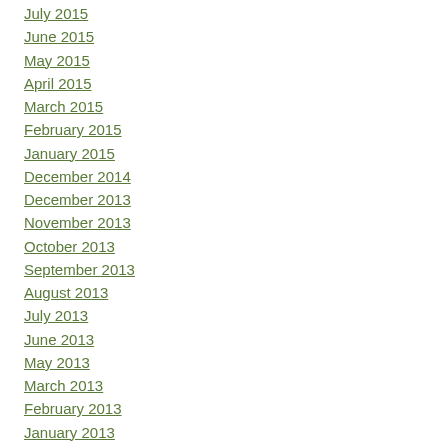July 2015
June 2015
May 2015
April 2015
March 2015
February 2015
January 2015
December 2014
December 2013
November 2013
October 2013
September 2013
August 2013
July 2013
June 2013
May 2013
March 2013
February 2013
January 2013